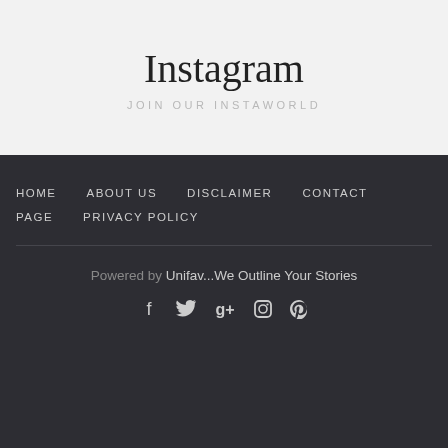Instagram
JOIN OUR INSTAWORLD
HOME  ABOUT US  DISCLAIMER  CONTACT  PAGE  PRIVACY POLICY
Powered by Unifav...We Outline Your Stories
[Figure (illustration): Social media icons: Facebook, Twitter, Google+, Instagram, Pinterest]